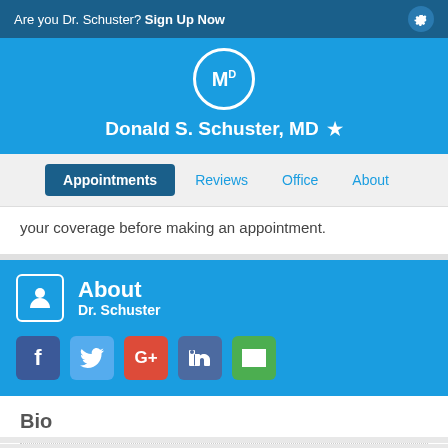Are you Dr. Schuster? Sign Up Now
Donald S. Schuster, MD
Appointments | Reviews | Office | About
your coverage before making an appointment.
About Dr. Schuster
[Figure (other): Social media icons: Facebook, Twitter, Google+, LinkedIn, Email]
Bio
Dr. Donald Schuster graduated from University Of Wisconsin Medical School in 1951.